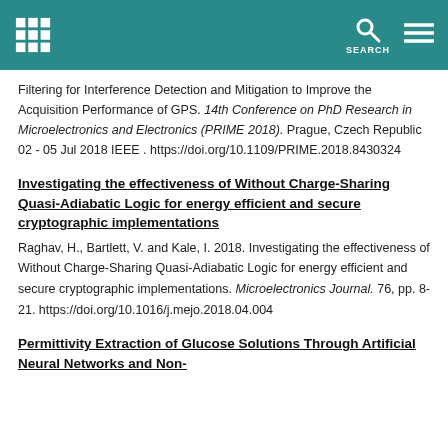SEARCH
Filtering for Interference Detection and Mitigation to Improve the Acquisition Performance of GPS. 14th Conference on PhD Research in Microelectronics and Electronics (PRIME 2018). Prague, Czech Republic 02 - 05 Jul 2018 IEEE . https://doi.org/10.1109/PRIME.2018.8430324
Investigating the effectiveness of Without Charge-Sharing Quasi-Adiabatic Logic for energy efficient and secure cryptographic implementations
Raghav, H., Bartlett, V. and Kale, I. 2018. Investigating the effectiveness of Without Charge-Sharing Quasi-Adiabatic Logic for energy efficient and secure cryptographic implementations. Microelectronics Journal. 76, pp. 8-21. https://doi.org/10.1016/j.mejo.2018.04.004
Permittivity Extraction of Glucose Solutions Through Artificial Neural Networks and Non-